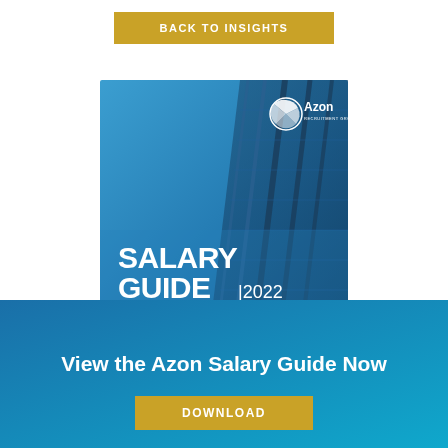BACK TO INSIGHTS
[Figure (illustration): Azon Recruitment Group Salary Guide 2022 book cover with blue gradient background and architectural building photo]
View the Azon Salary Guide Now
DOWNLOAD